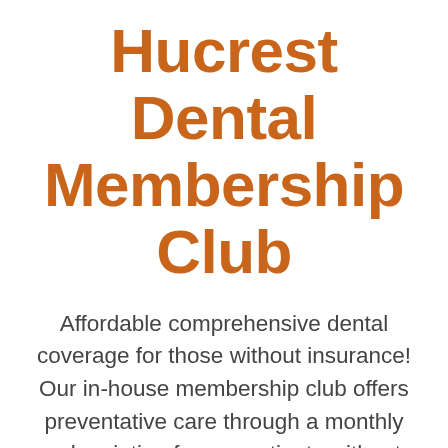Hucrest Dental Membership Club
Affordable comprehensive dental coverage for those without insurance! Our in-house membership club offers preventative care through a monthly subscription for our patients without dental coverage. This plan includes significant discounts on needed treatment with no waiting period, no annual limits, no paperwork hassles, and no need to